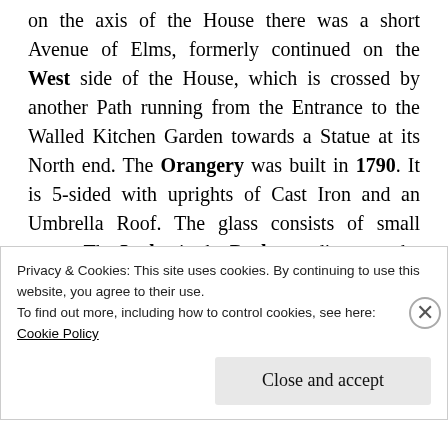on the axis of the House there was a short Avenue of Elms, formerly continued on the West side of the House, which is crossed by another Path running from the Entrance to the Walled Kitchen Garden towards a Statue at its North end. The Orangery was built in 1790. It is 5-sided with uprights of Cast Iron and an Umbrella Roof. The glass consists of small panes. The Lodge in the Park, standing near the Bridge, dates from about the same period
Privacy & Cookies: This site uses cookies. By continuing to use this website, you agree to their use.
To find out more, including how to control cookies, see here:
Cookie Policy

Close and accept